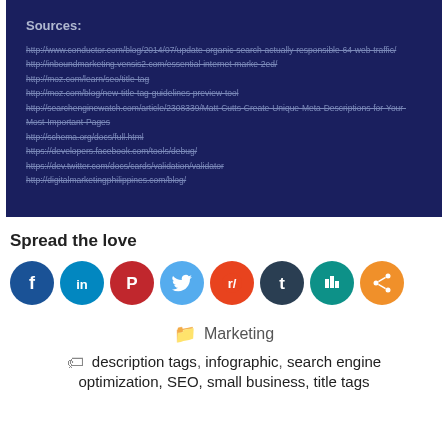Sources:
http://www.conductor.com/blog/2014/07/update-organic-search-actually-responsible-64-web-traffic/
http://inboundmarketing.vensis2.com/essential-internet-marke-2ed/
http://moz.com/learn/seo/title-tag
http://moz.com/blog/new-title-tag-guidelines-preview-tool
http://searchenginewatch.com/article/2308339/Matt-Cutts-Create-Unique-Meta-Descriptions-for-Your-Most-Important-Pages
http://schema.org/docs/full.html
https://developers.facebook.com/tools/debug/
https://dev.twitter.com/docs/cards/validation/validator
http://digitalmarketingphilippines.com/blog/
Spread the love
[Figure (infographic): Row of 8 social media sharing icons: Facebook (dark blue), LinkedIn (teal/blue), Pinterest (red), Twitter (light blue), Reddit (orange-red), Tumblr (dark navy), another icon (teal), Share (orange)]
Marketing
description tags, infographic, search engine optimization, SEO, small business, title tags